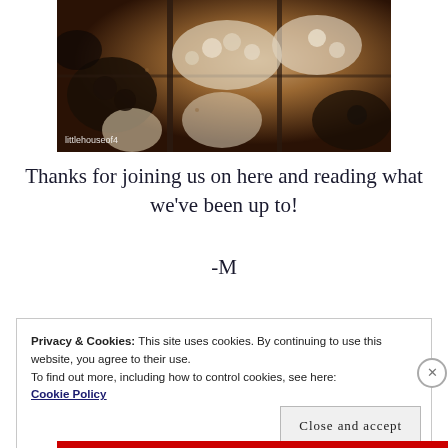[Figure (photo): Photo of newly hatched chicks (black and yellow/white) in a brooder tray with wood shavings, watermark reads 'littlehouseof4']
Thanks for joining us on here and reading what we've been up to!
-M
Privacy & Cookies: This site uses cookies. By continuing to use this website, you agree to their use.
To find out more, including how to control cookies, see here:
Cookie Policy
Close and accept